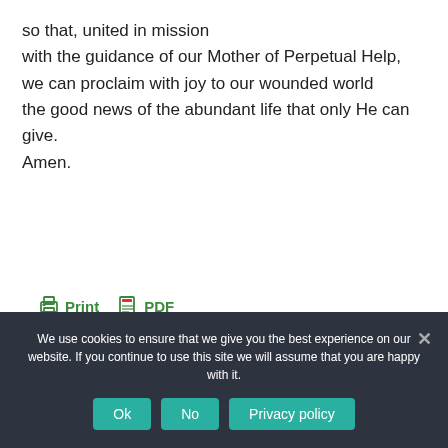so that, united in mission
with the guidance of our Mother of Perpetual Help,
we can proclaim with joy to our wounded world
the good news of the abundant life that only He can give.
Amen.
Print  PDF
We use cookies to ensure that we give you the best experience on our website. If you continue to use this site we will assume that you are happy with it.